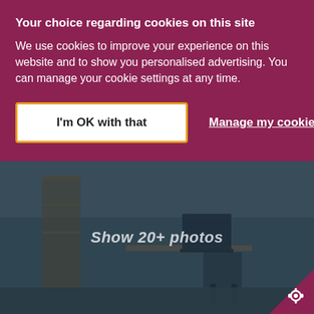Your choice regarding cookies on this site
We use cookies to improve your experience on this website and to show you personalised advertising. You can manage your cookie settings at any time.
I'm OK with that
Manage my cookies
[Figure (photo): Darkened interior room photo showing a desk, chair, and furniture, with a semi-transparent overlay and 'Show 20+ photos' text centered on the image. A gear/settings badge appears in the bottom-right corner on a dark red triangle.]